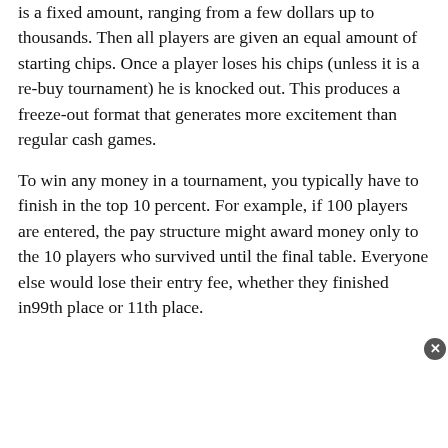is a fixed amount, ranging from a few dollars up to thousands. Then all players are given an equal amount of starting chips. Once a player loses his chips (unless it is a re-buy tournament) he is knocked out. This produces a freeze-out format that generates more excitement than regular cash games.
To win any money in a tournament, you typically have to finish in the top 10 percent. For example, if 100 players are entered, the pay structure might award money only to the 10 players who survived until the final table. Everyone else would lose their entry fee, whether they finished in99th place or 11th place.
[Figure (other): Victoria's Secret advertisement banner showing a model, VS logo, 'SHOP THE COLLECTION' text in pink, and a white 'SHOP NOW' button.]